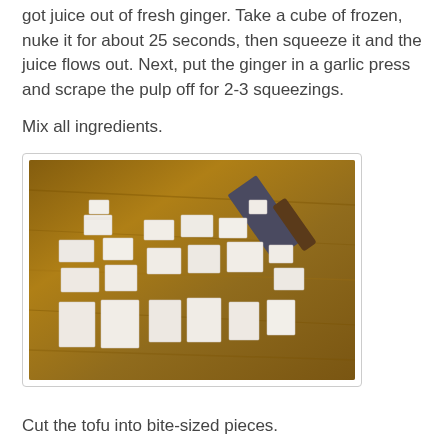got juice out of fresh ginger. Take a cube of frozen, nuke it for about 25 seconds, then squeeze it and the juice flows out. Next, put the ginger in a garlic press and scrape the pulp off for 2-3 squeezings.
Mix all ingredients.
[Figure (photo): Cubed tofu pieces scattered on a wooden cutting board with a knife visible in the upper right corner]
Cut the tofu into bite-sized pieces.
[Figure (photo): Close-up of tofu cubes on a dark surface]
[Figure (photo): Tofu being cooked in a pan with visible heat/flame]